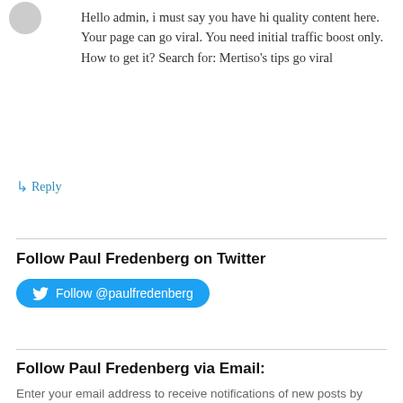[Figure (illustration): Small avatar/thumbnail image in top-left corner]
Hello admin, i must say you have hi quality content here.
Your page can go viral. You need initial traffic boost only.
How to get it? Search for: Mertiso's tips go viral
↳ Reply
Follow Paul Fredenberg on Twitter
Follow @paulfredenberg
Follow Paul Fredenberg via Email:
Enter your email address to receive notifications of new posts by email.